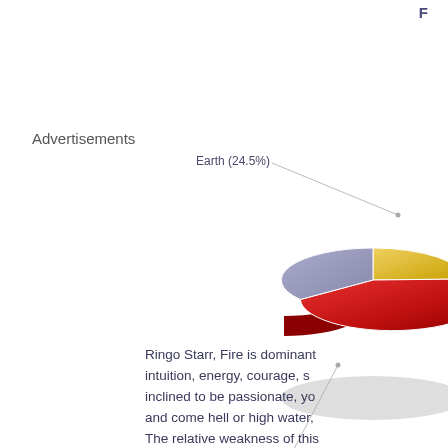F
Advertisements
[Figure (pie-chart): Elements chart]
Ringo Starr, Fire is dominant intuition, energy, courage, s inclined to be passionate, yo and come hell or high water, The relative weakness of this kind of boldness that may pro